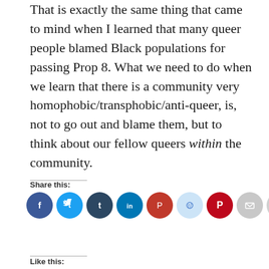That is exactly the same thing that came to mind when I learned that many queer people blamed Black populations for passing Prop 8. What we need to do when we learn that there is a community very homophobic/transphobic/anti-queer, is, not to go out and blame them, but to think about our fellow queers within the community.
Share this:
[Figure (other): Row of social media share icons: Facebook (blue), Twitter (blue), Tumblr (dark blue), LinkedIn (teal), Pocket (red), Reddit (light blue), Pinterest (red), Email (grey), Print (grey)]
Like this: